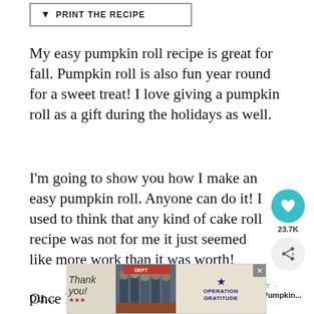[Figure (other): Print the recipe button with arrow icon inside a bordered rectangle]
My easy pumpkin roll recipe is great for fall. Pumpkin roll is also fun year round for a sweet treat! I love giving a pumpkin roll as a gift during the holidays as well.
I'm going to show you how I make an easy pumpkin roll. Anyone can do it! I used to think that any kind of cake roll recipe was not for me it just seemed like more work than it was worth!
Once I tried, I was hooked! This delicious pu... a try I'...
[Figure (infographic): Social sharing widget with teal heart button showing 23.7K count and a share icon button]
[Figure (other): What's Next widget showing Easy Iced Pumpkin... with thumbnail image]
[Figure (other): Advertisement banner for Operation Gratitude with Thank You handwritten text and group photo]